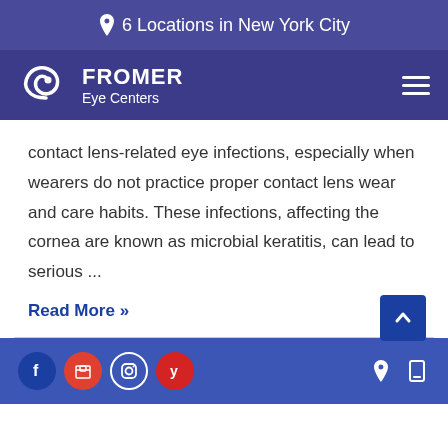6 Locations in New York City
[Figure (logo): Fromer Eye Centers logo with swirl graphic and text]
contact lens-related eye infections, especially when wearers do not practice proper contact lens wear and care habits. These infections, affecting the cornea are known as microbial keratitis, can lead to serious ...
Read More »
Social media icons (Facebook, Google, Instagram, Yelp) and location/mobile icons